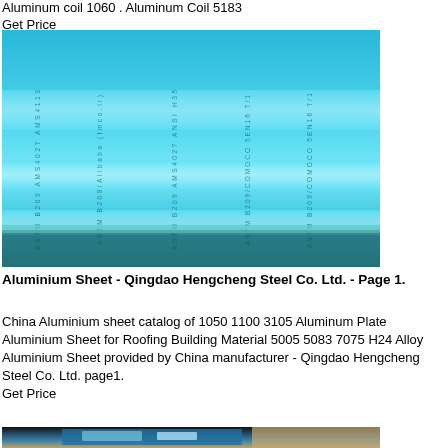Aluminum coil 1060 . Aluminum Coil 5183
Get Price
[Figure (photo): Photo of blue aluminum sheets/coils with printed markings including ASTM B209 text, stacked on a surface.]
Aluminium Sheet - Qingdao Hengcheng Steel Co. Ltd. - Page 1.
China Aluminium sheet catalog of 1050 1100 3105 Aluminum Plate Aluminium Sheet for Roofing Building Material 5005 5083 7075 H24 Alloy Aluminium Sheet provided by China manufacturer - Qingdao Hengcheng Steel Co. Ltd. page1.
Get Price
[Figure (photo): Photo of blue aluminum sheets with paper packaging, partially visible at bottom of page.]